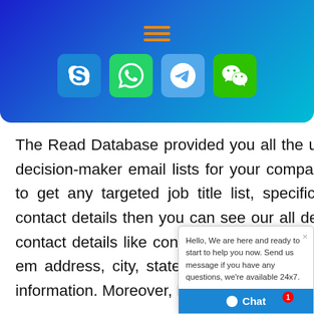[Figure (other): Header banner with gradient blue background, hamburger menu icon lines, and four social media icon buttons: Skype (blue), WhatsApp (green), Telegram (light blue), WeChat (green)]
The Read Database provided you all the up-to-date and accurate decision-maker email lists for your company. Similarly, If you like to get any targeted job title list, specific company or person's contact details then you can see our all decision maker list wi full contact details like contact name, j title, job position, job division, em address, city, state, company nam company full details, etc information. Moreover, Buy our updated and verified C
[Figure (screenshot): Chat popup widget in the bottom right corner with close X button, message 'Hello, We are here and ready to start to help you now. Send us message if you have any questions, we're available 24x7.' and a blue Chat button with notification badge showing 1]